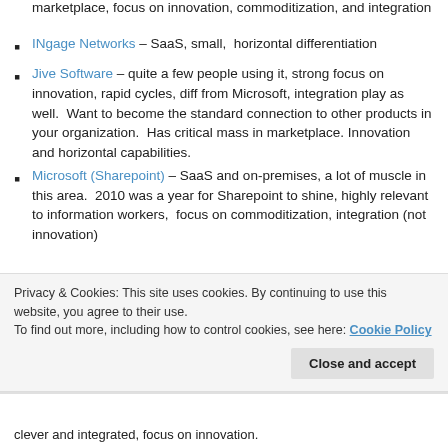marketplace, focus on innovation, commoditization, and integration
INgage Networks – SaaS, small,  horizontal differentiation
Jive Software – quite a few people using it, strong focus on innovation, rapid cycles, diff from Microsoft, integration play as well.  Want to become the standard connection to other products in your organization.  Has critical mass in marketplace. Innovation and horizontal capabilities.
Microsoft (Sharepoint) – SaaS and on-premises, a lot of muscle in this area.  2010 was a year for Sharepoint to shine, highly relevant to information workers,  focus on commoditization, integration (not innovation)
Privacy & Cookies: This site uses cookies. By continuing to use this website, you agree to their use. To find out more, including how to control cookies, see here: Cookie Policy
clever and integrated, focus on innovation.